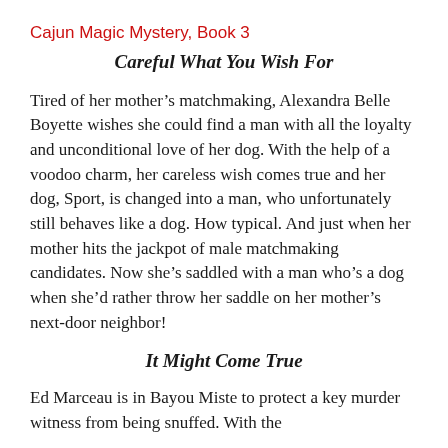Cajun Magic Mystery, Book 3
Careful What You Wish For
Tired of her mother’s matchmaking, Alexandra Belle Boyette wishes she could find a man with all the loyalty and unconditional love of her dog. With the help of a voodoo charm, her careless wish comes true and her dog, Sport, is changed into a man, who unfortunately still behaves like a dog. How typical. And just when her mother hits the jackpot of male matchmaking candidates. Now she’s saddled with a man who’s a dog when she’d rather throw her saddle on her mother’s next-door neighbor!
It Might Come True
Ed Marceau is in Bayou Miste to protect a key murder witness from being snuffed. With the